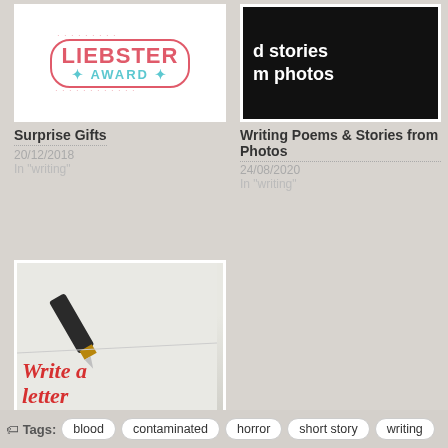[Figure (photo): Liebster Award logo with pink oval border and teal AWARD text]
Surprise Gifts
20/12/2018
In "writing"
[Figure (photo): Dark background with white text reading 'd stories m photos']
Writing Poems & Stories from Photos
24/08/2020
In "writing"
[Figure (photo): Fountain pen on paper with red handwritten text 'Write a letter']
Sanding Down and Polishing Up: redrafting short stories
23/06/2019
In "writing"
Tags: blood contaminated horror short story writing